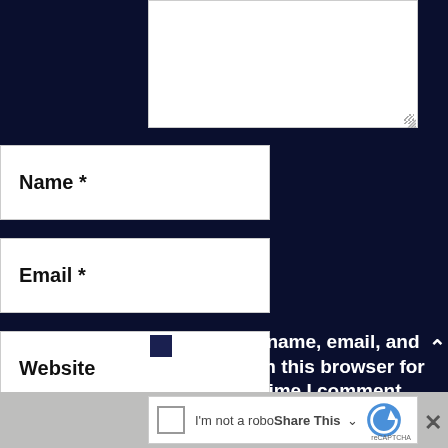[Figure (screenshot): Partial textarea (comment box) at top, white background with resize handle in bottom-right corner]
Name *
Email *
Website
Save my name, email, and website in this browser for the next time I comment.
[Figure (screenshot): reCAPTCHA widget at bottom: checkbox, text 'I'm not a roboShare This', reCAPTCHA logo, close X button]